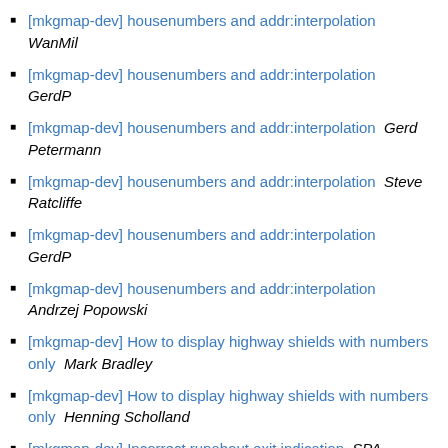[mkgmap-dev] housenumbers and addr:interpolation  WanMil
[mkgmap-dev] housenumbers and addr:interpolation  GerdP
[mkgmap-dev] housenumbers and addr:interpolation  Gerd Petermann
[mkgmap-dev] housenumbers and addr:interpolation  Steve Ratcliffe
[mkgmap-dev] housenumbers and addr:interpolation  GerdP
[mkgmap-dev] housenumbers and addr:interpolation  Andrzej Popowski
[mkgmap-dev] How to display highway shields with numbers only  Mark Bradley
[mkgmap-dev] How to display highway shields with numbers only  Henning Scholland
[mkgmap-dev] Incorrect runabout exit indication  SPA
[mkgmap-dev] Incorrect runabout exit indication  SPA
[mkgmap-dev] Incorrect runabout exit indication  Gerd